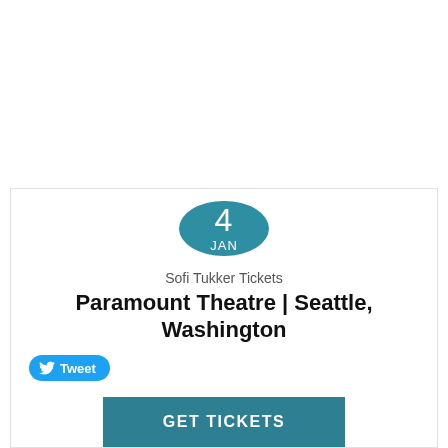[Figure (infographic): Teal circular date badge showing '4' and 'JAN']
Sofi Tukker Tickets
Paramount Theatre | Seattle, Washington
[Figure (other): Twitter Tweet button in blue rounded pill shape]
GET TICKETS